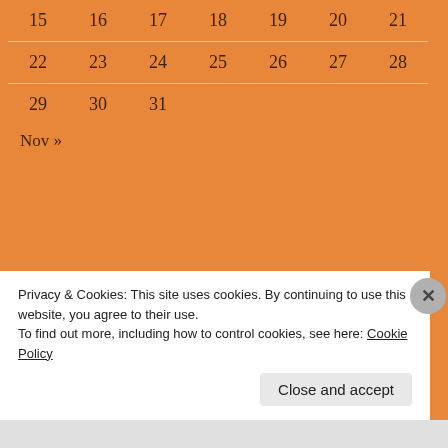| 15 | 16 | 17 | 18 | 19 | 20 | 21 |
| 22 | 23 | 24 | 25 | 26 | 27 | 28 |
| 29 | 30 | 31 |  |  |  |  |
Nov »
POSTING TERBARU
12-02-06: Discussion Text.
11-02-05: Narrative Text
11-01-08: Explanation Text; Definition, Purposes, Generic Structures, Language Features
Privacy & Cookies: This site uses cookies. By continuing to use this website, you agree to their use.
To find out more, including how to control cookies, see here: Cookie Policy